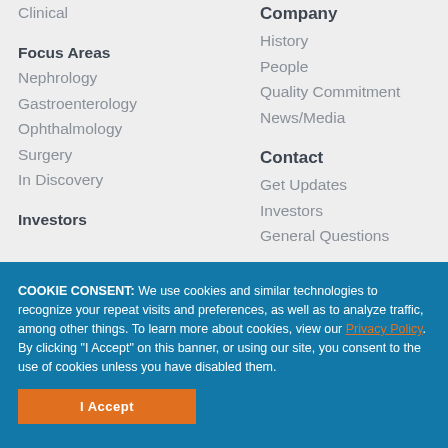Clinical
Focus Areas
Nephrology
Gastroenterology
Ophthalmology
Surgery
In Discovery
Investors
Company
History
People
Quality Commitment
News/Media
Contact
Get Updates
Investors
General Questions
COOKIE CONSENT: We use cookies and similar technologies to recognize your repeat visits and preferences, as well as to analyze traffic, among other things. To learn more about cookies, view our Privacy Policy. By clicking "I Accept" on this banner, or using our site, you consent to the use of cookies unless you have disabled them.
I Accept